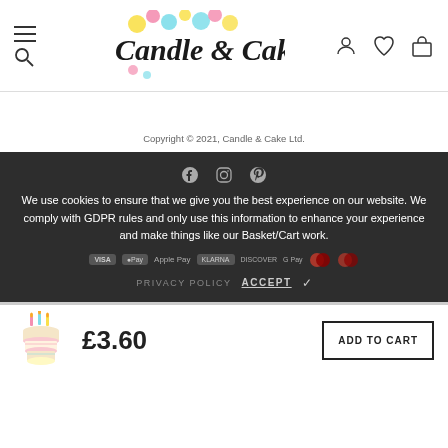[Figure (logo): Candle & Cake logo with colorful polka dots and cursive text]
Copyright © 2021,  Candle & Cake Ltd.
We use cookies to ensure that we give you the best experience on our website. We comply with GDPR rules and only use this information to enhance your experience and make things like our Basket/Cart work.
PRIVACY POLICY  ACCEPT ✓
£3.60
ADD TO CART